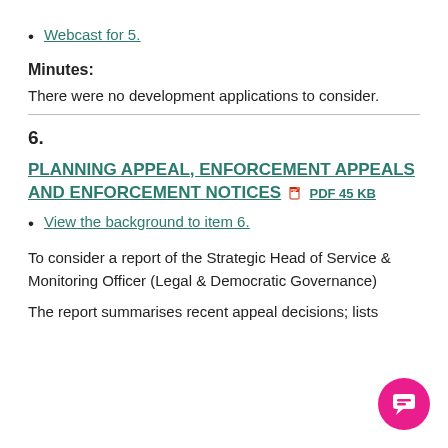Webcast for 5.
Minutes:
There were no development applications to consider.
6.
PLANNING APPEAL, ENFORCEMENT APPEALS AND ENFORCEMENT NOTICES PDF 45 KB
View the background to item 6.
To consider a report of the Strategic Head of Service & Monitoring Officer (Legal & Democratic Governance)
The report summarises recent appeal decisions; lists